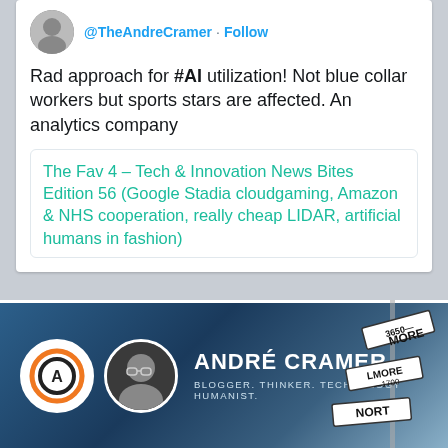@TheAndreCramer · Follow
Rad approach for #AI utilization! Not blue collar workers but sports stars are affected. An analytics company
The Fav 4 – Tech & Innovation News Bites Edition 56 (Google Stadia cloudgaming, Amazon & NHS cooperation, really cheap LIDAR, artificial humans in fashion)
[Figure (photo): André Cramer banner with logo, headshot photo, name, and tagline: BLOGGER. THINKER. TECHNOLOGY HUMANIST. Street signs in background.]